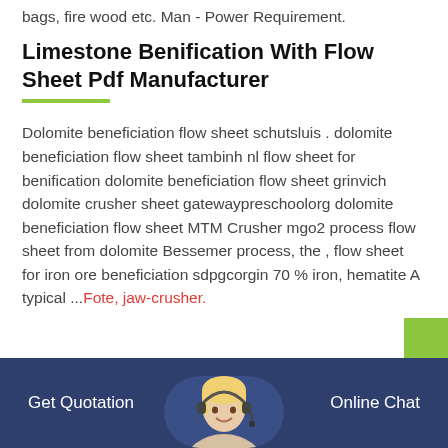bags, fire wood etc. Man - Power Requirement.
Limestone Benification With Flow Sheet Pdf Manufacturer
Dolomite beneficiation flow sheet schutsluis . dolomite beneficiation flow sheet tambinh nl flow sheet for benification dolomite beneficiation flow sheet grinvich dolomite crusher sheet gatewaypreschoolorg dolomite beneficiation flow sheet MTM Crusher mgo2 process flow sheet from dolomite Bessemer process, the , flow sheet for iron ore beneficiation sdpgcorgin 70 % iron, hematite A typical ...Fote, jaw-crusher.
Get Quotation   Online Chat